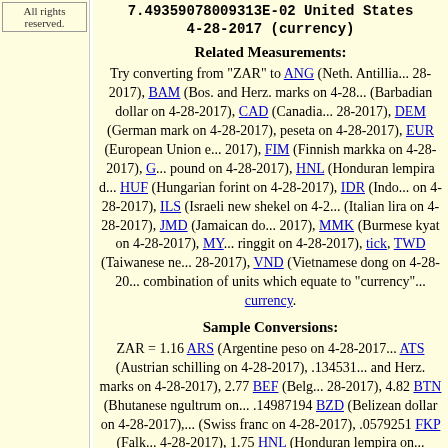All rights reserved.
7.49359078009313E-02 United States 4-28-2017 (currency)
Related Measurements:
Try converting from "ZAR" to ANG (Neth. Antillia... 28-2017), BAM (Bos. and Herz. marks on 4-28...) (Barbadian dollar on 4-28-2017), CAD (Canadia... 28-2017), DEM (German mark on 4-28-2017), ... peseta on 4-28-2017), EUR (European Union e... 2017), FIM (Finnish markka on 4-28-2017), G... pound on 4-28-2017), HNL (Honduran lempira d... HUF (Hungarian forint on 4-28-2017), IDR (Indo... on 4-28-2017), ILS (Israeli new shekel on 4-2... (Italian lira on 4-28-2017), JMD (Jamaican do... 2017), MMK (Burmese kyat on 4-28-2017), MY... ringgit on 4-28-2017), tick, TWD (Taiwanese ne... 28-2017), VND (Vietnamese dong on 4-28-20... combination of units which equate to "currency"... currency.
Sample Conversions:
ZAR = 1.16 ARS (Argentine peso on 4-28-2017... ATS (Austrian schilling on 4-28-2017), .134531... and Herz. marks on 4-28-2017), 2.77 BEF (Belg... 28-2017), 4.82 BTN (Bhutanese ngultrum on... .14987194 BZD (Belizean dollar on 4-28-2017),... (Swiss franc on 4-28-2017), .0579251 FKP (Falk... 4-28-2017), 1.75 HNL (Honduran lempira on... 994.17 IDR (Indonesian rupiah on 4-28-2017... (Indian rupee on 4-28-2017), 8.35 JPY (Japane... 28-2017), .74364561 MAD (Moroccan dirham d...